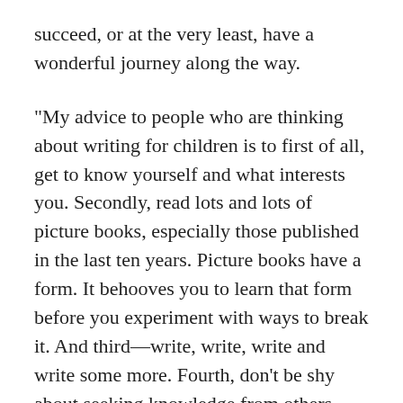succeed, or at the very least, have a wonderful journey along the way.
"My advice to people who are thinking about writing for children is to first of all, get to know yourself and what interests you. Secondly, read lots and lots of picture books, especially those published in the last ten years. Picture books have a form. It behooves you to learn that form before you experiment with ways to break it. And third—write, write, write and write some more. Fourth, don't be shy about seeking knowledge from others. And last and most important of all, enjoy the process!"